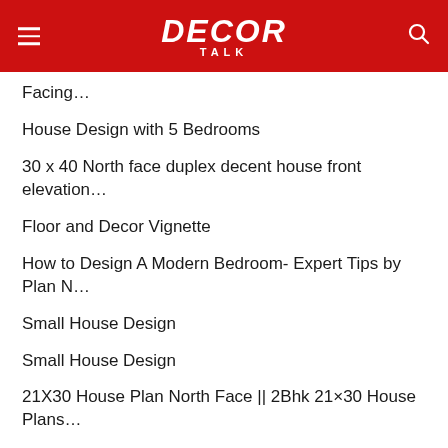DECOR TALK
Facing…
House Design with 5 Bedrooms
30 x 40 North face duplex decent house front elevation…
Floor and Decor Vignette
How to Design A Modern Bedroom- Expert Tips by Plan N…
Small House Design
Small House Design
21X30 House Plan North Face || 2Bhk 21×30 House Plans…